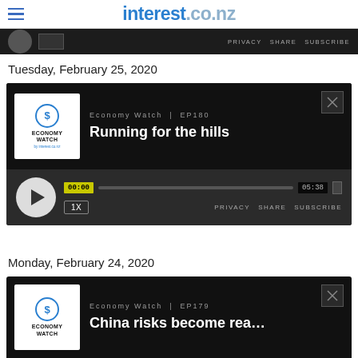interest.co.nz
[Figure (screenshot): Truncated podcast player strip at top of page showing PRIVACY SHARE SUBSCRIBE links]
Tuesday, February 25, 2020
[Figure (screenshot): Economy Watch podcast player card EP180 - Running for the hills. Shows podcast cover art, episode label, title, play button, progress bar showing 00:00 of 05:38, speed 1X, PRIVACY SHARE SUBSCRIBE links]
Monday, February 24, 2020
[Figure (screenshot): Economy Watch podcast player card EP179 - China risks become rea... (truncated). Shows podcast cover art and episode info, partially visible at bottom of page]